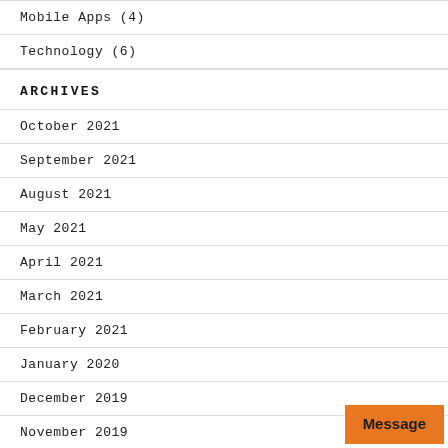Mobile Apps (4)
Technology (6)
ARCHIVES
October 2021
September 2021
August 2021
May 2021
April 2021
March 2021
February 2021
January 2020
December 2019
November 2019
August 2019
May 2019
April 2019